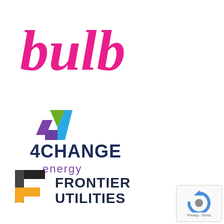[Figure (logo): Bulb energy company logo in hot pink cursive/script font reading 'bulb']
[Figure (logo): 4Change Energy logo with a stylized number 4 made of green, teal/blue, and purple geometric shapes above text '4CHANGE energy' in dark navy and purple]
[Figure (logo): Frontier Utilities logo with a stylized F shape in dark gray, black and orange bars, beside bold text 'FRONTIER UTILITIES' in dark navy]
[Figure (other): Google reCAPTCHA badge in bottom right corner with blue/gray circular arrow icon and 'Privacy · Terms' text]